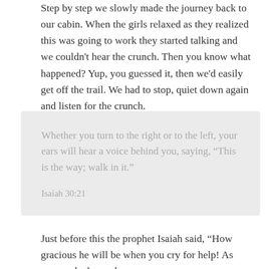Step by step we slowly made the journey back to our cabin. When the girls relaxed as they realized this was going to work they started talking and we couldn't hear the crunch. Then you know what happened? Yup, you guessed it, then we'd easily get off the trail. We had to stop, quiet down again and listen for the crunch.
Whether you turn to the right or to the left, your ears will hear a voice behind you, saying, “This is the way; walk in it.”

Isaiah 30:21
Just before this the prophet Isaiah said, “How gracious he will be when you cry for help! As soon as he hears, he